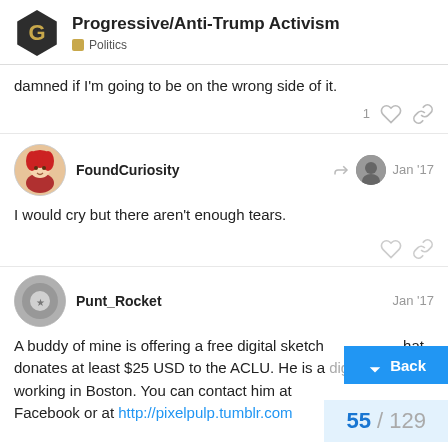Progressive/Anti-Trump Activism — Politics
damned if I'm going to be on the wrong side of it.
FoundCuriosity — Jan '17
I would cry but there aren't enough tears.
Punt_Rocket — Jan '17
A buddy of mine is offering a free digital sketch hat donates at least $25 USD to the ACLU. He is a digital artist working in Boston. You can contact him at Facebook or at http://pixelpulp.tumblr.com